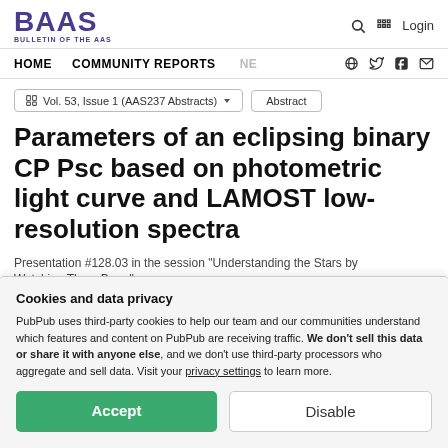BAAS BULLETIN OF THE AAS
HOME   COMMUNITY REPORTS   NE
Vol. 53, Issue 1 (AAS237 Abstracts)   Abstract
Parameters of an eclipsing binary CP Psc based on photometric light curve and LAMOST low-resolution spectra
Presentation #128.03 in the session “Understanding the Stars by Watching Them Burn.”
Cookies and data privacy
PubPub uses third-party cookies to help our team and our communities understand which features and content on PubPub are receiving traffic. We don’t sell this data or share it with anyone else, and we don’t use third-party processors who aggregate and sell data. Visit your privacy settings to learn more.
Accept   Disable